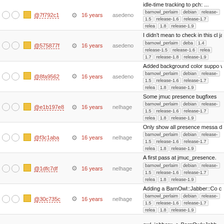|  |  |  |  | age | author | description/tags |
| --- | --- | --- | --- | --- | --- | --- |
|  |  | @7f792c1 |  | 16 years | asedeno | idle-time tracking to pch: ... barnowl_perlaim debian release-1.5 release-1.6 release-1.7 release-1.8 release-1.9 |
|  |  | @575877f |  | 16 years | asedeno | I didn't mean to check in this cl jabber.pl. barnowl_perlaim debian release-1.4 release-1.5 release-1.6 release-1.7 release-1.8 release-1.9 |
|  |  | @8fa9562 |  | 16 years | asedeno | Added background color suppo we run out of color pairs ... barnowl_perlaim debian release-1.5 release-1.6 release-1.7 release-1.8 release-1.9 |
|  |  | @e1b197e8 |  | 16 years | nelhage | Some jmuc presence bugfixes barnowl_perlaim debian release-1.5 release-1.6 release-1.7 release-1.8 release-1.9 |
|  |  | @f3c1aba |  | 16 years | nelhage | Only show all presence messa debug is set. barnowl_perlaim debian release-1.5 release-1.6 release-1.7 release-1.8 release-1.9 |
|  |  | @1dfc7df |  | 16 years | nelhage | A first pass at jmuc_presence. barnowl_perlaim debian release-1.5 release-1.6 release-1.7 release-1.8 release-1.9 |
|  |  | @30c735c |  | 16 years | nelhage | Adding a BarnOwl::Jabber::Co class where we can add extens barnowl_perlaim debian release-1.5 release-1.6 release-1.7 release-1.8 release-1.9 |
|  |  | @60986b2 |  | 16 years | nelhage | owl_jabber:: -> BarnOwl::Jabb barnowl_perlaim debian |